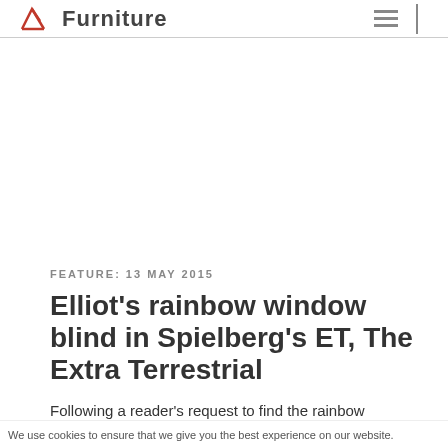Furniture
FEATURE: 13 MAY 2015
Elliot's rainbow window blind in Spielberg's ET, The Extra Terrestrial
Following a reader's request to find the rainbow
We use cookies to ensure that we give you the best experience on our website.